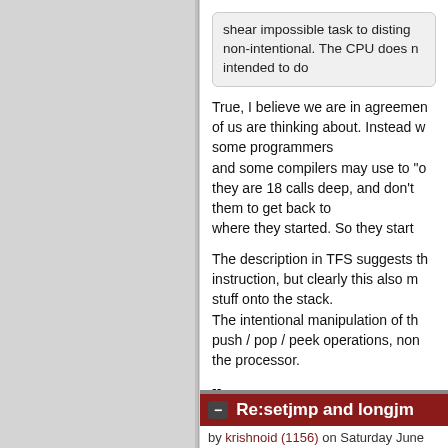shear impossible task to disting non-intentional. The CPU does n intended to do
True, I believe we are in agreemen of us are thinking about. Instead w some programmers and some compilers may use to "o they are 18 calls deep, and don't them to get back to where they started. So they start
The description in TFS suggests th instruction, but clearly this also m stuff onto the stack. The intentional manipulation of th push / pop / peek operations, non the processor.
--
No, you are mistaken. I've always
Parent
Re:setjmp and longjmp
by krishnoid (1156) on Saturday June